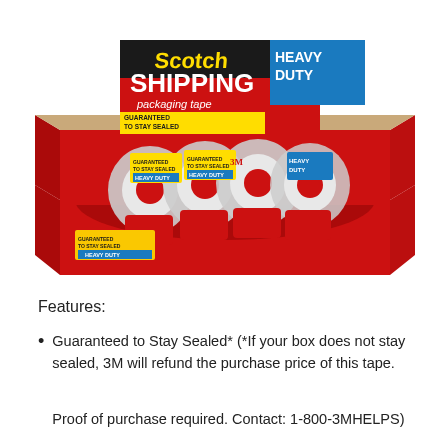[Figure (photo): Product photo of Scotch Heavy Duty Shipping Packaging Tape in a red cardboard display box, showing multiple tape dispensers with red handles and clear tape rolls. The packaging shows yellow 'Scotch' branding and blue 'Heavy Duty' labels with 'Guaranteed to Stay Sealed' text.]
Features:
Guaranteed to Stay Sealed* (*If your box does not stay sealed, 3M will refund the purchase price of this tape.
Proof of purchase required. Contact: 1-800-3MHELPS)